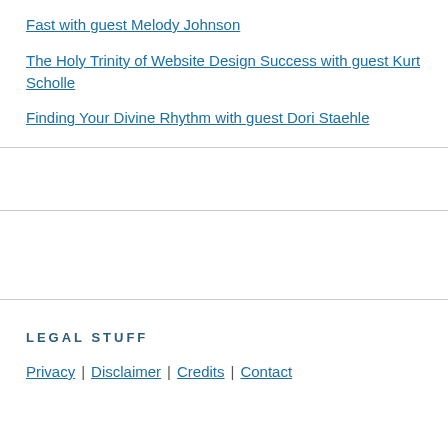Fast with guest Melody Johnson
The Holy Trinity of Website Design Success with guest Kurt Scholle
Finding Your Divine Rhythm with guest Dori Staehle
LEGAL STUFF
Privacy | Disclaimer | Credits | Contact